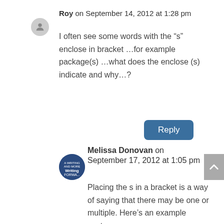Roy on September 14, 2012 at 1:28 pm
I often see some words with the “s” enclose in bracket …for example package(s) …what does the enclose (s) indicate and why…?
Reply
Melissa Donovan on September 17, 2012 at 1:05 pm
Placing the s in a bracket is a way of saying that there may be one or multiple. Here’s an example sentence: